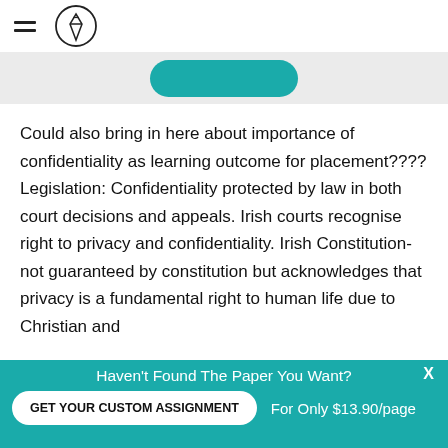[Figure (logo): Hamburger menu icon and circular pencil/pen logo icon in top nav bar]
[Figure (screenshot): Partial teal rounded button visible at top of content area on grey background]
Could also bring in here about importance of confidentiality as learning outcome for placement???? Legislation: Confidentiality protected by law in both court decisions and appeals. Irish courts recognise right to privacy and confidentiality. Irish Constitution-not guaranteed by constitution but acknowledges that privacy is a fundamental right to human life due to Christian and
Haven't Found The Paper You Want? GET YOUR CUSTOM ASSIGNMENT For Only $13.90/page x